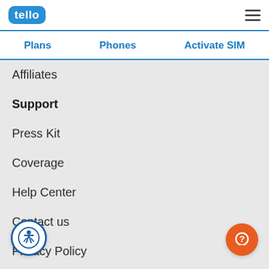tello
Plans
Phones
Activate SIM
Affiliates
Support
Press Kit
Coverage
Help Center
Contact us
Privacy Policy
Terms and Conditions
Customer Reviews